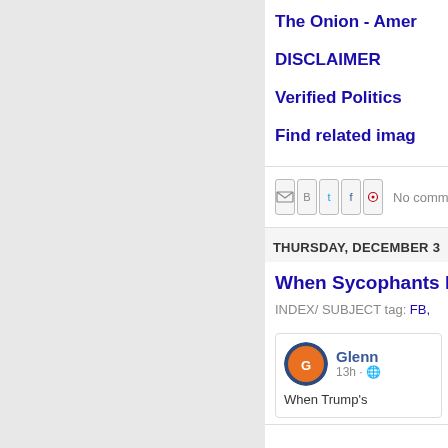The Onion - Amer
DISCLAIMER
Verified Politics
Find related imag
No comm
THURSDAY, DECEMBER 3
When Sycophants D
INDEX/ SUBJECT tag: FB,
[Figure (screenshot): Facebook post embed showing Glenn's profile picture, name, 13h timestamp, and post beginning 'When Trump's']